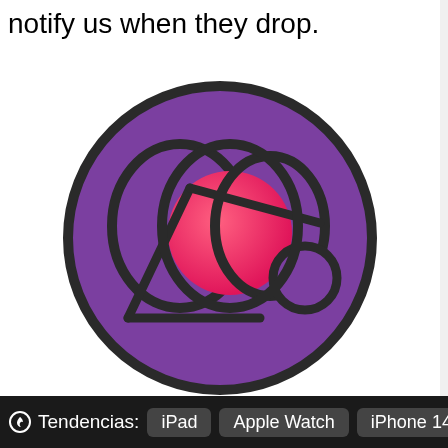notify us when they drop.
[Figure (logo): Circular purple logo with stylized '2020' text rendered as abstract overlapping shapes including a pink/red circle and curved lines on a purple background with thick dark border.]
Tendencias: iPad  Apple Watch  iPhone 14  iC